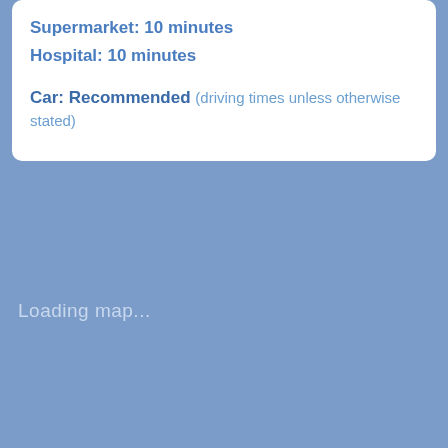Supermarket: 10 minutes
Hospital: 10 minutes
Car: Recommended (driving times unless otherwise stated)
Loading map...